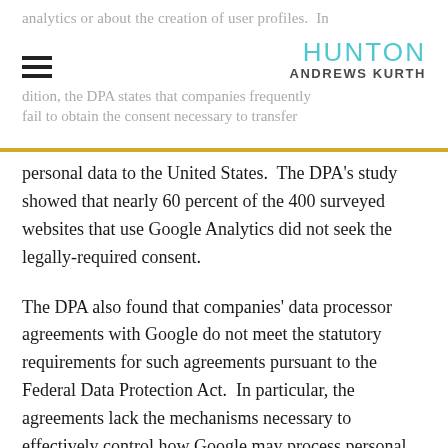analytics or about the creation of user profiles. In addition, the DPA states that companies frequently fail to obtain the consent necessary to transfer
personal data to the United States. The DPA's study showed that nearly 60 percent of the 400 surveyed websites that use Google Analytics did not seek the legally-required consent.
The DPA also found that companies' data processor agreements with Google do not meet the statutory requirements for such agreements pursuant to the Federal Data Protection Act. In particular, the agreements lack the mechanisms necessary to effectively control how Google may process personal data.